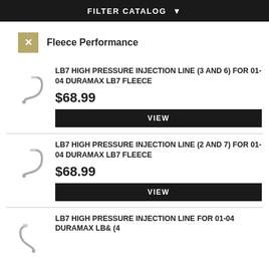FILTER CATALOG ▼
Fleece Performance
LB7 HIGH PRESSURE INJECTION LINE (3 AND 6) FOR 01-04 DURAMAX LB7 FLEECE
$68.99
VIEW
LB7 HIGH PRESSURE INJECTION LINE (2 AND 7) FOR 01-04 DURAMAX LB7 FLEECE
$68.99
VIEW
LB7 HIGH PRESSURE INJECTION LINE FOR 01-04 DURAMAX LB& (4